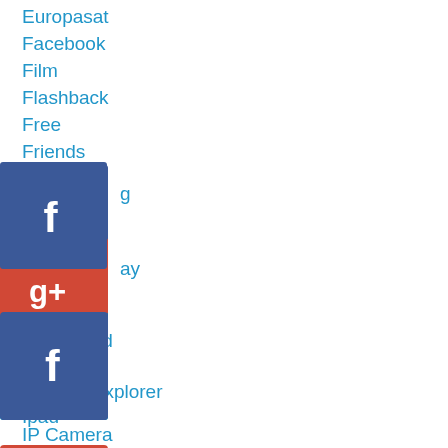Europasat
Facebook
Film
Flashback
Free
Friends
[Figure (logo): Facebook social media icon - blue square with white 'f' letter]
[Figure (logo): Google+ social media icon - red square with white 'g+' text]
[Figure (logo): LinkedIn social media icon - blue square with white 'in' text]
Ibroadband
Internet
Internet Explorer
Ipad
IP Camera
Iphone
Iptv
Kodak